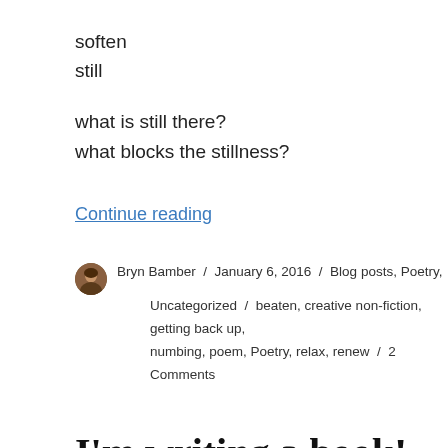soften
still
what is still there?
what blocks the stillness?
Continue reading
Bryn Bamber / January 6, 2016 / Blog posts, Poetry, Uncategorized / beaten, creative non-fiction, getting back up, numbing, poem, Poetry, relax, renew / 2 Comments
I'm writing a book!
[Figure (photo): Dark/black background photo, partially visible at bottom of page]